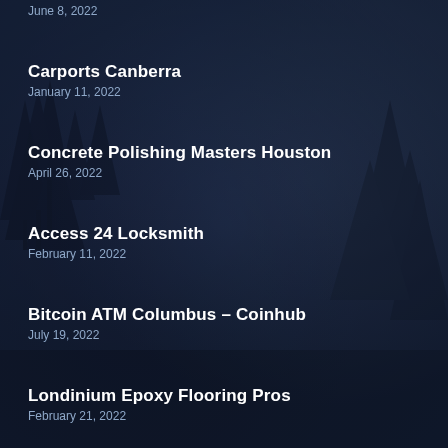June 8, 2022
Carports Canberra
January 11, 2022
Concrete Polishing Masters Houston
April 26, 2022
Access 24 Locksmith
February 11, 2022
Bitcoin ATM Columbus – Coinhub
July 19, 2022
Londinium Epoxy Flooring Pros
February 21, 2022